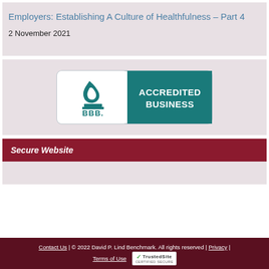Employers: Establishing A Culture of Healthfulness – Part 4
2 November 2021
[Figure (logo): BBB Accredited Business badge with teal background and white text]
Secure Website
Contact Us | © 2022 David P. Lind Benchmark. All rights reserved | Privacy | Terms of Use